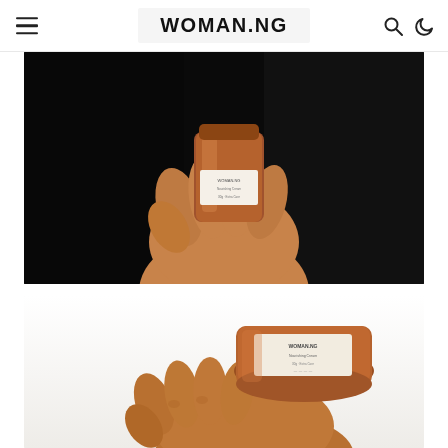WOMAN.NG
[Figure (photo): A hand holding a brown/amber glass jar or bottle against a dark black background. The product appears to be a skincare or beauty item with a label on the jar.]
[Figure (photo): A hand holding a brown/amber glass jar from below, viewed from a slightly different angle. The jar has a label and appears to be the same skincare or beauty product. The background is white.]